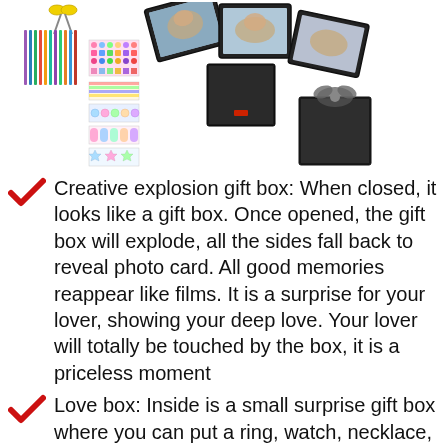[Figure (photo): Product photo showing an explosion gift box kit with photos displayed, craft supplies including scissors, pens, heart sticker, decorative sticker sheets, and two black boxes (one open showing contents, one closed with ribbon bow).]
Creative explosion gift box: When closed, it looks like a gift box. Once opened, the gift box will explode, all the sides fall back to reveal photo card. All good memories reappear like films. It is a surprise for your lover, showing your deep love. Your lover will totally be touched by the box, it is a priceless moment
Love box: Inside is a small surprise gift box where you can put a ring, watch, necklace, chocolate, candy. The perfect gift for engagement, wedding, anniversary, birthday, Valentine's Day, Mother's Day, Graduation or